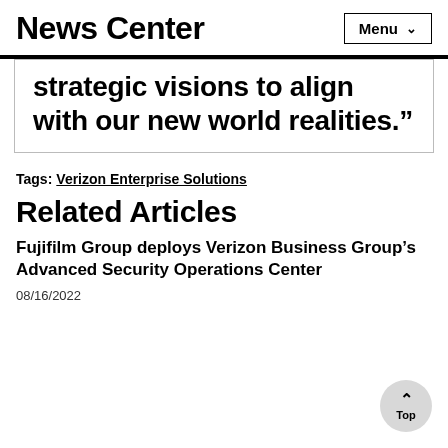News Center
strategic visions to align with our new world realities.”
Tags: Verizon Enterprise Solutions
Related Articles
Fujifilm Group deploys Verizon Business Group’s Advanced Security Operations Center
08/16/2022